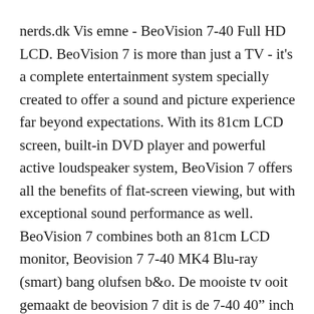nerds.dk Vis emne - BeoVision 7-40 Full HD LCD. BeoVision 7 is more than just a TV - it's a complete entertainment system specially created to offer a sound and picture experience far beyond expectations. With its 81cm LCD screen, built-in DVD player and powerful active loudspeaker system, BeoVision 7 offers all the benefits of flat-screen viewing, but with exceptional sound performance as well. BeoVision 7 combines both an 81cm LCD monitor, Beovision 7 7-40 MK4 Blu-ray (smart) bang olufsen b&o. De mooiste tv ooit gemaakt de beovision 7 dit is de 7-40 40" inch beeld diagonaal (101cm) let op er zijn meerdere soorten. Zo goed als nieuw Ophalen of